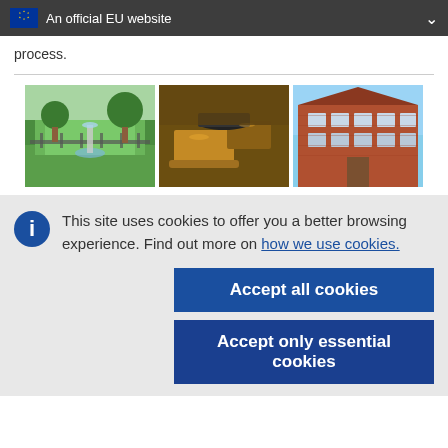An official EU website
process.
[Figure (photo): Three photos side by side: a garden with a fountain, copper cooking pots, and a red brick building]
This site uses cookies to offer you a better browsing experience. Find out more on how we use cookies.
Accept all cookies
Accept only essential cookies